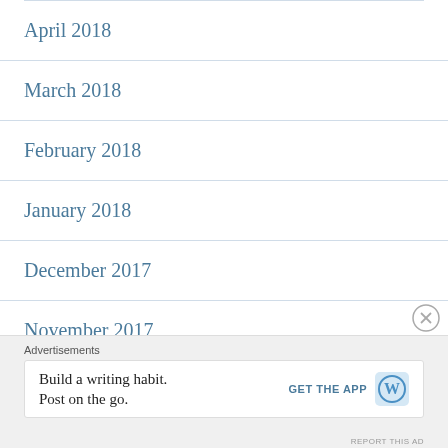April 2018
March 2018
February 2018
January 2018
December 2017
November 2017
October 2017
Advertisements
Build a writing habit. Post on the go. GET THE APP